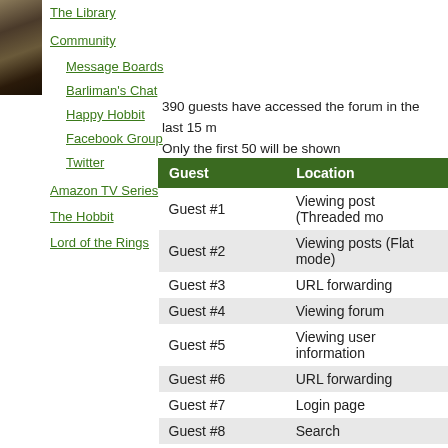[Figure (photo): Avatar image of a creature (possibly a hobbit or similar), dark tones]
The Library
Community
Message Boards
Barliman's Chat
Happy Hobbit
Facebook Group
Twitter
Amazon TV Series
The Hobbit
Lord of the Rings
390 guests have accessed the forum in the last 15 m. Only the first 50 will be shown
| Guest | Location |
| --- | --- |
| Guest #1 | Viewing post (Threaded mo... |
| Guest #2 | Viewing posts (Flat mode) |
| Guest #3 | URL forwarding |
| Guest #4 | Viewing forum |
| Guest #5 | Viewing user information |
| Guest #6 | URL forwarding |
| Guest #7 | Login page |
| Guest #8 | Search |
| Guest #9 | Viewing user information |
| Guest #10 | Viewing posts (Flat mode) |
| Guest #11 | URL forwarding |
| Guest #12 | Bad action |
| Guest #13 | Viewing posts (Flat mode) |
| Guest #14 | URL forwarding |
| Guest #15 | URL forwarding |